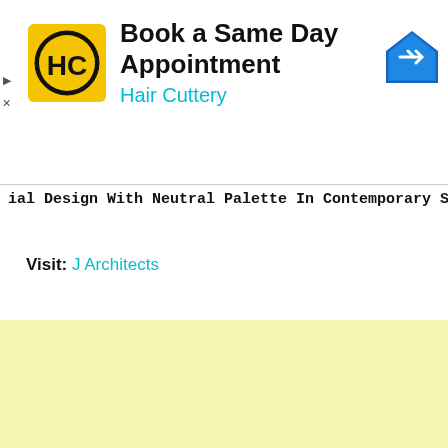[Figure (logo): Hair Cuttery HC logo - yellow square with HC letters in black circle]
Book a Same Day Appointment
Hair Cuttery
[Figure (illustration): Blue diamond navigation/turn icon with white arrow pointing right]
ial Design With Neutral Palette In Contemporary Setting | J Architects
Visit: J Architects
[Figure (other): Light yellow rectangular area]